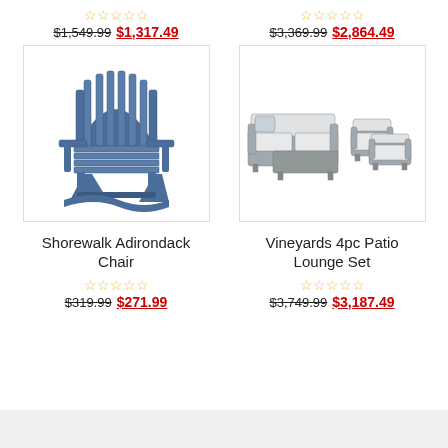[Figure (other): Top-left product: stars and price row for first product above fold]
$1,549.99  $1,317.49
[Figure (other): Top-right product: stars and price row for second product above fold]
$3,369.99  $2,864.49
[Figure (photo): Shorewalk Adirondack Chair - blue wooden adirondack chair]
[Figure (photo): Vineyards 4pc Patio Lounge Set - grey modern patio set with sofa, coffee table, and two armchairs]
Shorewalk Adirondack Chair
Vineyards 4pc Patio Lounge Set
$319.99  $271.99
$3,749.99  $3,187.49